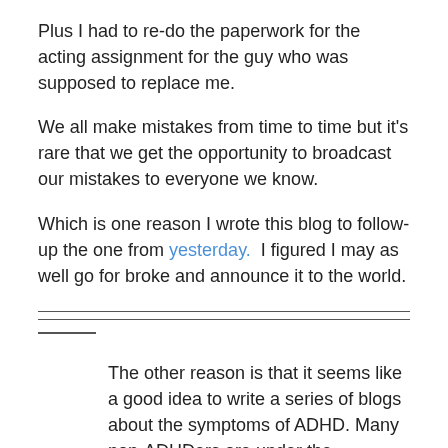Plus I had to re-do the paperwork for the acting assignment for the guy who was supposed to replace me.
We all make mistakes from time to time but it's rare that we get the opportunity to broadcast our mistakes to everyone we know.
Which is one reason I wrote this blog to follow-up the one from yesterday.  I figured I may as well go for broke and announce it to the world.
The other reason is that it seems like a good idea to write a series of blogs about the symptoms of ADHD. Many non-ADHDers are under the assumption there's